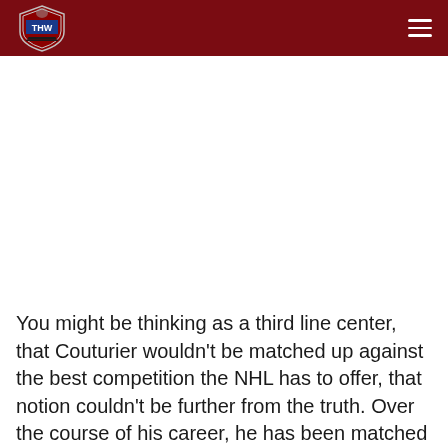THW – The Hockey Writers
You might be thinking as a third line center, that Couturier wouldn't be matched up against the best competition the NHL has to offer, that notion couldn't be further from the truth. Over the course of his career, he has been matched up against